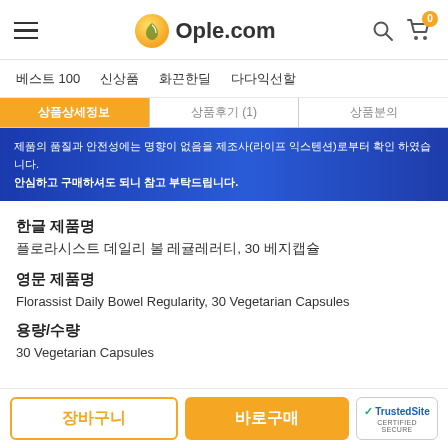Ople.com
베스트 100  신상품  화끈한딜  다다익선할
상품상세정보  상품후기 (1)  상품분의
제품의 품질과 안전성에는 명향이 없음을 제조사(라이프 익스텐션)로부터 확인 하였습니다.
안심하고 구매하셔도 되니 참고 부탁드립니다.
한글 제품명
플로라시스트 데일리 볼 레귤레러티, 30 베지캡슐
영문 제품명
Florassist Daily Bowel Regularity, 30 Vegetarian Capsules
용량/수량
30 Vegetarian Capsules
장바구니  바로구매  TrustedSite CERTIFIED SECURE